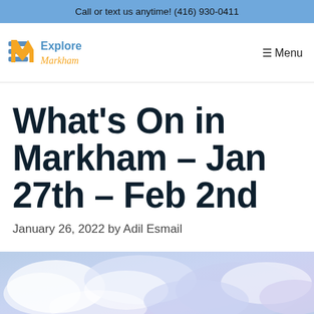Call or text us anytime! (416) 930-0411
[Figure (logo): Explore Markham logo with stylized EM icon in orange/blue and text 'Explore Markham' with cursive subtitle]
☰ Menu
What's On in Markham – Jan 27th – Feb 2nd
January 26, 2022 by Adil Esmail
[Figure (photo): Abstract watercolor-style image with soft blue, purple and white cloudy tones]